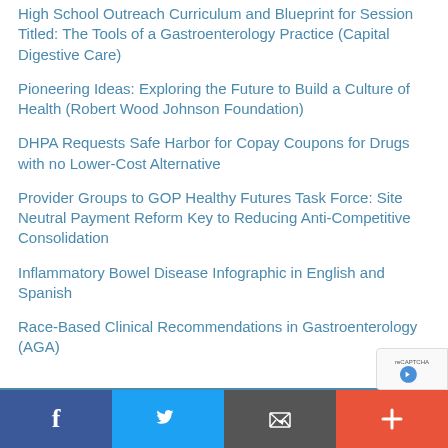High School Outreach Curriculum and Blueprint for Session Titled: The Tools of a Gastroenterology Practice (Capital Digestive Care)
Pioneering Ideas: Exploring the Future to Build a Culture of Health (Robert Wood Johnson Foundation)
DHPA Requests Safe Harbor for Copay Coupons for Drugs with no Lower-Cost Alternative
Provider Groups to GOP Healthy Futures Task Force: Site Neutral Payment Reform Key to Reducing Anti-Competitive Consolidation
Inflammatory Bowel Disease Infographic in English and Spanish
Race-Based Clinical Recommendations in Gastroenterology (AGA)
Social share bar: Facebook, Twitter, Email, More